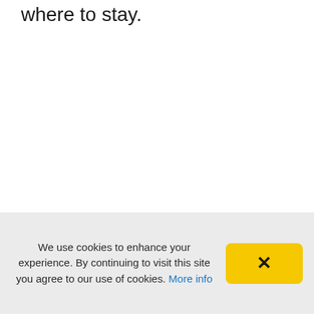where to stay.
We use cookies to enhance your experience. By continuing to visit this site you agree to our use of cookies. More info